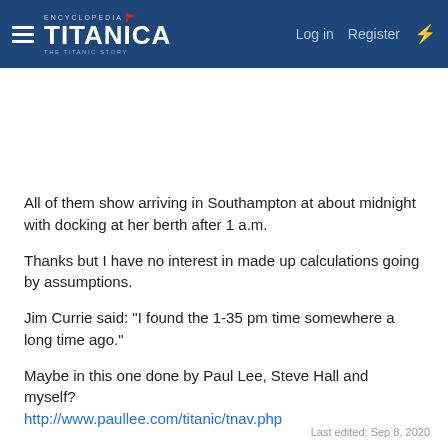Encyclopedia Titanica | Log in | Register
All of them show arriving in Southampton at about midnight with docking at her berth after 1 a.m.
Thanks but I have no interest in made up calculations going by assumptions.
Jim Currie said: "I found the 1-35 pm time somewhere a long time ago."
Maybe in this one done by Paul Lee, Steve Hall and myself?
http://www.paullee.com/titanic/tnav.php
Last edited: Sep 8, 2020